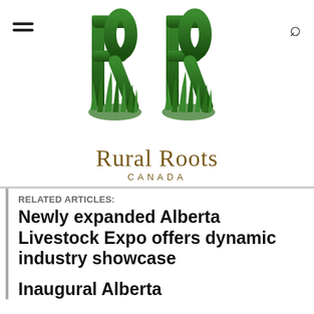[Figure (logo): Rural Roots Canada logo with two large green stylized letter R's above grass, and the text 'Rural Roots CANADA' below in gold/brown serif font]
RELATED ARTICLES:
Newly expanded Alberta Livestock Expo offers dynamic industry showcase
Inaugural Alberta